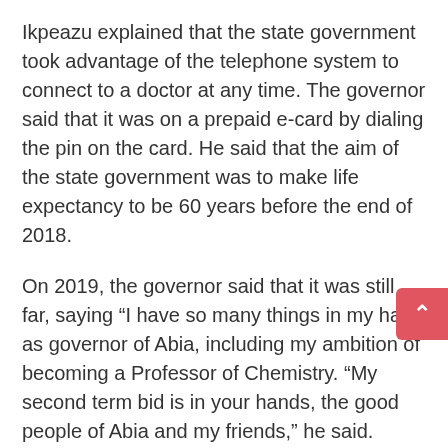Ikpeazu explained that the state government took advantage of the telephone system to connect to a doctor at any time. The governor said that it was on a prepaid e-card by dialing the pin on the card. He said that the aim of the state government was to make life expectancy to be 60 years before the end of 2018.
On 2019, the governor said that it was still far, saying “I have so many things in my hand as governor of Abia, including my ambition of becoming a Professor of Chemistry. “My second term bid is in your hands, the good people of Abia and my friends,” he said.
The Commissioner for Information, Mr. Okeiyi Kalu, conducted the heads of media round the projects executed by the government, including the first asphalted road in Ugwunagbo Local Government Area.